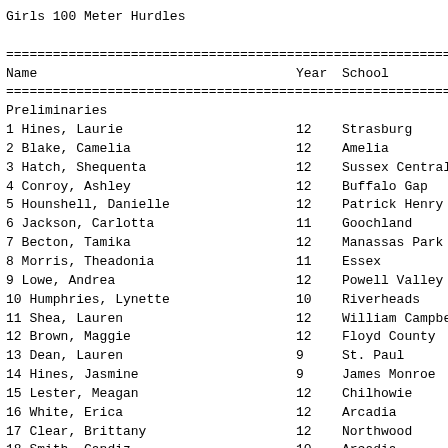Girls 100 Meter Hurdles
| Name | Year | School |
| --- | --- | --- |
| Preliminaries |  |  |
| 1 Hines, Laurie | 12 | Strasburg |
| 2 Blake, Camelia | 12 | Amelia |
| 3 Hatch, Shequenta | 12 | Sussex Central |
| 4 Conroy, Ashley | 12 | Buffalo Gap |
| 5 Hounshell, Danielle | 12 | Patrick Henry |
| 6 Jackson, Carlotta | 11 | Goochland |
| 7 Becton, Tamika | 12 | Manassas Park |
| 8 Morris, Theadonia | 11 | Essex |
| 9 Lowe, Andrea | 12 | Powell Valley |
| 10 Humphries, Lynette | 10 | Riverheads |
| 11 Shea, Lauren | 12 | William Campbell |
| 12 Brown, Maggie | 12 | Floyd County |
| 13 Dean, Lauren | 9 | St. Paul |
| 14 Hines, Jasmine | 9 | James Monroe |
| 15 Lester, Meagan | 12 | Chilhowie |
| 16 White, Erica | 12 | Arcadia |
| 17 Clear, Brittany | 12 | Northwood |
| 18 Smith, Candiz | 10 | Arcadia |
| 19 Cropper, Lamesha | 12 | Arcadia |
| 20 Lawson, Britney | 12 | Rye Cove |
| 21 Koelewyn, Michelle | 12 | King William |
| 22 Estep, Teri | 12 | Thomas Walker |
| 23 Callahan, Kaley | 9 | Powell Valley |
| 24 Dougherty, Kayla | 11 | Twin Springs |
| 25 Phillips, Amber | 12 | Floyd County |